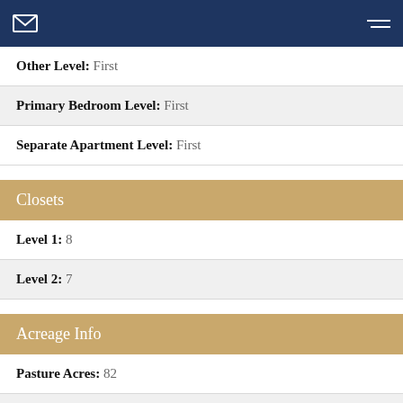Navigation bar with mail icon and menu icon
Other Level: First
Primary Bedroom Level: First
Separate Apartment Level: First
Closets
Level 1: 8
Level 2: 7
Acreage Info
Pasture Acres: 82
Lake/Pond: 2